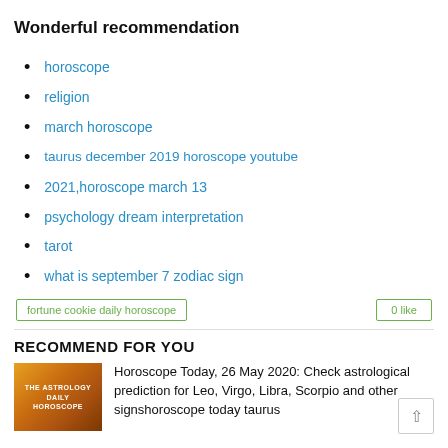Wonderful recommendation
horoscope
religion
march horoscope
taurus december 2019 horoscope youtube
2021,horoscope march 13
psychology dream interpretation
tarot
what is september 7 zodiac sign
fortune cookie daily horoscope   0 like
RECOMMEND FOR YOU
Horoscope Today, 26 May 2020: Check astrological prediction for Leo, Virgo, Libra, Scorpio and other signshoroscope today taurus